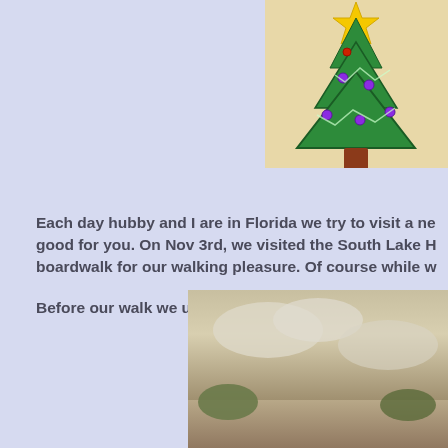[Figure (illustration): Colorful illustrated Christmas tree with ornaments, star on top, on a warm background, partially cropped at top-right corner of page.]
Each day hubby and I are in Florida we try to visit a ne good for you. On Nov 3rd, we visited the South Lake H boardwalk for our walking pleasure. Of course while w
Before our walk we usually do our gym routine and try
[Figure (photo): Outdoor photo, partially visible at bottom-right of page, showing sky and possibly trees or landscape.]